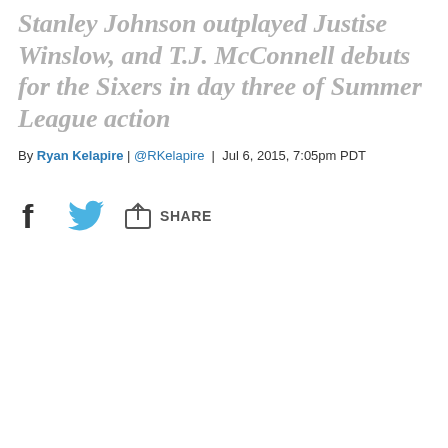Stanley Johnson outplayed Justise Winslow, and T.J. McConnell debuts for the Sixers in day three of Summer League action
By Ryan Kelapire | @RKelapire | Jul 6, 2015, 7:05pm PDT
[Figure (other): Social share icons: Facebook icon, Twitter bird icon, and a generic share/upload icon with the label SHARE]